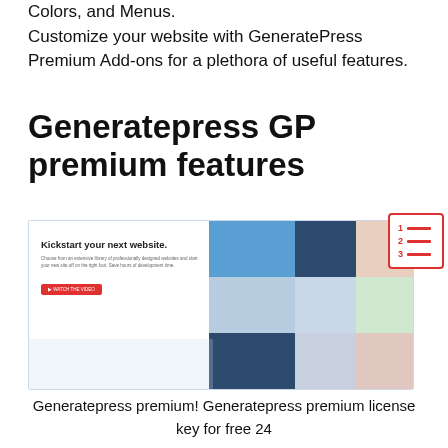Colors, and Menus. Customize your website with GeneratePress Premium Add-ons for a plethora of useful features.
Generatepress GP premium features
[Figure (screenshot): Screenshot of GeneratePress website builder interface showing 'Kickstart your next website.' landing page with various website template previews. A table-of-contents icon with red border appears in the top-right corner.]
Generatepress premium! Generatepress premium license key for free 24